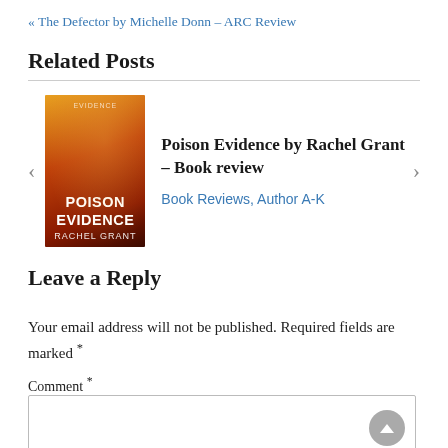« The Defector by Michelle Donn – ARC Review
Related Posts
[Figure (illustration): Book cover for Poison Evidence by Rachel Grant – dark orange and red fiery background with bold white text]
Poison Evidence by Rachel Grant – Book review
Book Reviews, Author A-K
Leave a Reply
Your email address will not be published. Required fields are marked *
Comment *